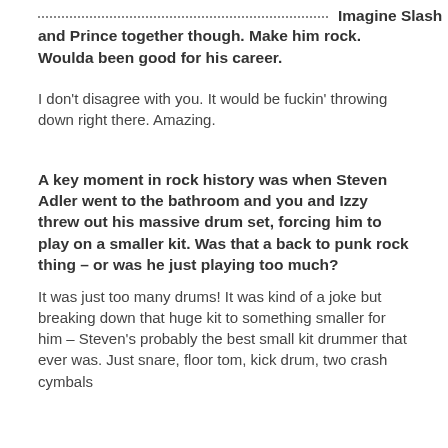Imagine Slash and Prince together though. Make him rock. Woulda been good for his career.
I don't disagree with you. It would be fuckin' throwing down right there. Amazing.
A key moment in rock history was when Steven Adler went to the bathroom and you and Izzy threw out his massive drum set, forcing him to play on a smaller kit. Was that a back to punk rock thing – or was he just playing too much?
It was just too many drums! It was kind of a joke but breaking down that huge kit to something smaller for him – Steven's probably the best small kit drummer that ever was. Just snare, floor tom, kick drum, two crash cymbals